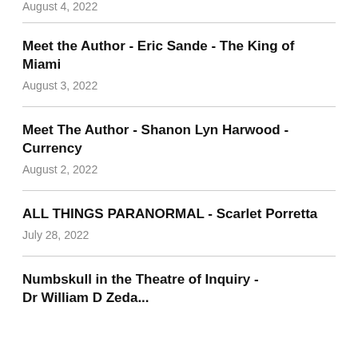August 4, 2022
Meet the Author - Eric Sande - The King of Miami
August 3, 2022
Meet The Author - Shanon Lyn Harwood - Currency
August 2, 2022
ALL THINGS PARANORMAL - Scarlet Porretta
July 28, 2022
Numbskull in the Theatre of Inquiry - Dr William D Zeda...